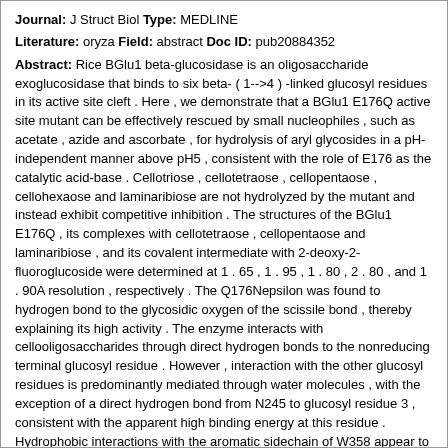Journal: J Struct Biol Type: MEDLINE
Literature: oryza Field: abstract Doc ID: pub20884352
Abstract: Rice BGlu1 beta-glucosidase is an oligosaccharide exoglucosidase that binds to six beta- ( 1-->4 ) -linked glucosyl residues in its active site cleft . Here , we demonstrate that a BGlu1 E176Q active site mutant can be effectively rescued by small nucleophiles , such as acetate , azide and ascorbate , for hydrolysis of aryl glycosides in a pH-independent manner above pH5 , consistent with the role of E176 as the catalytic acid-base . Cellotriose , cellotetraose , cellopentaose , cellohexaose and laminaribiose are not hydrolyzed by the mutant and instead exhibit competitive inhibition . The structures of the BGlu1 E176Q , its complexes with cellotetraose , cellopentaose and laminaribiose , and its covalent intermediate with 2-deoxy-2-fluoroglucoside were determined at 1 . 65 , 1 . 95 , 1 . 80 , 2 . 80 , and 1 . 90A resolution , respectively . The Q176Nepsilon was found to hydrogen bond to the glycosidic oxygen of the scissile bond , thereby explaining its high activity . The enzyme interacts with cellooligosaccharides through direct hydrogen bonds to the nonreducing terminal glucosyl residue . However , interaction with the other glucosyl residues is predominantly mediated through water molecules , with the exception of a direct hydrogen bond from N245 to glucosyl residue 3 , consistent with the apparent high binding energy at this residue . Hydrophobic interactions with the aromatic sidechain of W358 appear to orient glucosyl residues 2 and 3 , while Y341 orients glucosyl residues 4 and 5 . In contrast , laminaribiose has its second glucosyl residue positioned to allow direct hydrogen bonding between its O2 and Q176 Oepsilon and O1 and N245 . These are the first GH1 glycoside hydrolase family structures to show oligosaccharide binding in the hydrolytic configuration .